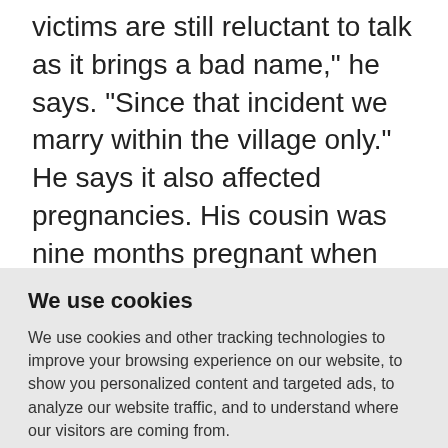victims are still reluctant to talk as it brings a bad name," he says. "Since that incident we marry within the village only." He says it also affected pregnancies. His cousin was nine months pregnant when she was gang raped that night. The baby was born with a fractured arm. "There are so many women among them who never
We use cookies
We use cookies and other tracking technologies to improve your browsing experience on our website, to show you personalized content and targeted ads, to analyze our website traffic, and to understand where our visitors are coming from.